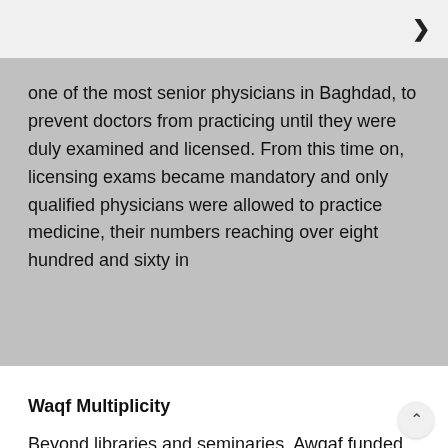>
one of the most senior physicians in Baghdad, to prevent doctors from practicing until they were duly examined and licensed. From this time on, licensing exams became mandatory and only qualified physicians were allowed to practice medicine, their numbers reaching over eight hundred and sixty in
Waqf Multiplicity
Beyond libraries and seminaries, Awqaf funded various